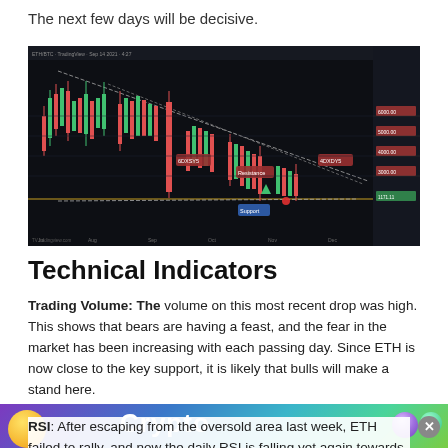The next few days will be decisive.
[Figure (screenshot): Candlestick chart of ETH/BTC on a dark background, showing a downtrend with resistance and support labels, price levels annotated on the right side (5000.00, 6000.00, 4000.00, 3000.00, 2000.00, 1000.00), and trend lines forming a descending wedge pattern. Labels include '6DXSY5', 'Resistance', 'Support', '4DXDY5'.]
Technical Indicators
Trading Volume: The volume on this most recent drop was high. This shows that bears are having a feast, and the fear in the market has been increasing with each passing day. Since ETH is now close to the key support, it is likely that bulls will make a stand here.
RSI: After escaping from the oversold area last week, ETH failed to rally, and now the daily RSI is falling yet again towards the oversold